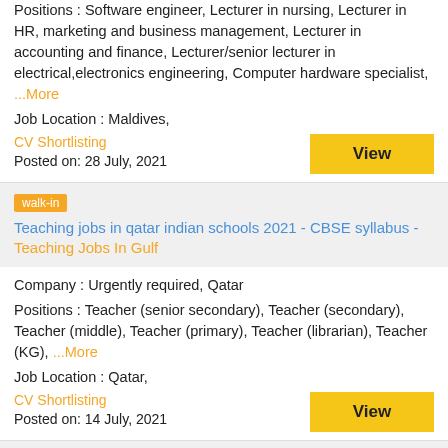Positions : Software engineer, Lecturer in nursing, Lecturer in HR, marketing and business management, Lecturer in accounting and finance, Lecturer/senior lecturer in electrical,electronics engineering, Computer hardware specialist, ...More
Job Location : Maldives,
CV Shortlisting
Posted on: 28 July, 2021
walk-in
Teaching jobs in qatar indian schools 2021 - CBSE syllabus - Teaching Jobs In Gulf
Company : Urgently required, Qatar
Positions : Teacher (senior secondary), Teacher (secondary), Teacher (middle), Teacher (primary), Teacher (librarian), Teacher (KG), ...More
Job Location : Qatar,
CV Shortlisting
Posted on: 14 July, 2021
walk-in
Teacher vacancy in qatar indian school - Urgent requirement - Teaching Jobs In Gulf
Company : Urgently required, Qatar
Positions : Teachers (primary level), Teachers (middle level), Teachers